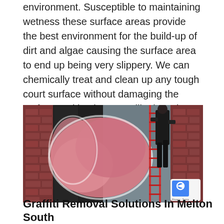environment. Susceptible to maintaining wetness these surface areas provide the best environment for the build-up of dirt and algae causing the surface area to end up being very slippery. We can chemically treat and clean up any tough court surface without damaging the surface making it appear like brand-new once again.
[Figure (photo): A person on a ladder painting or cleaning graffiti off a brick wall. The wall has large pink graffiti artwork. The person is climbing a red ladder on the right side of the wall.]
Graffiti Removal Solutions In Melton South